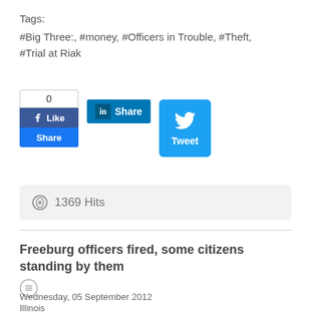Tags:
#Big Three:, #money, #Officers in Trouble, #Theft, #Trial at Riak
[Figure (screenshot): Social sharing buttons: Facebook Like/Share count box showing 0, LinkedIn Share button, Twitter Tweet button]
1369 Hits
Freeburg officers fired, some citizens standing by them
Wednesday, 05 September 2012
Illinois
KSDK-TV, ksdk.comBYLINE: Casey NolenLink to